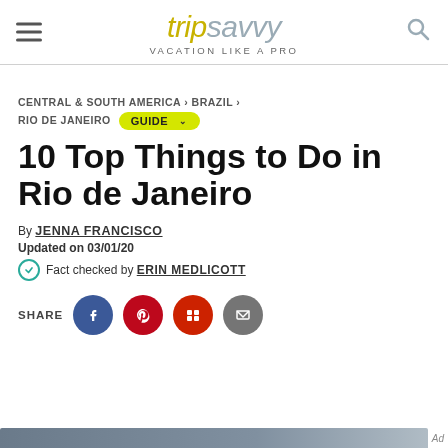tripsavvy — VACATION LIKE A PRO
CENTRAL & SOUTH AMERICA > BRAZIL > RIO DE JANEIRO  GUIDE ˅
10 Top Things to Do in Rio de Janeiro
By JENNA FRANCISCO
Updated on 03/01/20
Fact checked by ERIN MEDLICOTT
SHARE
[Figure (other): Partial image strip at bottom of page with Ad label]